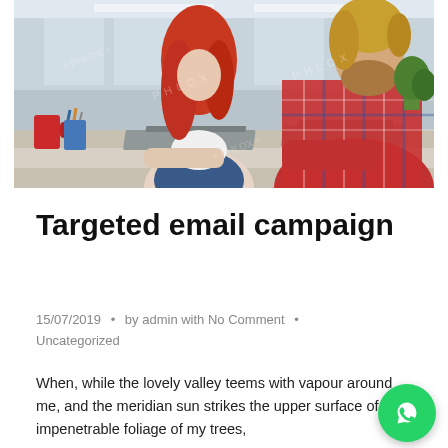[Figure (photo): Office photo showing two people working on laptops at a desk. A woman with long red hair on the left, a bearded man in a red plaid shirt on the right. Office environment with large windows and plants in background. Stock photo with PHLOX watermarks.]
Targeted email campaign
15/07/2019  •  by admin with No Comment  •  Uncategorized
When, while the lovely valley teems with vapour around me, and the meridian sun strikes the upper surface of the impenetrable foliage of my trees, and but a few stray gleams steal into the inner sanctuary,